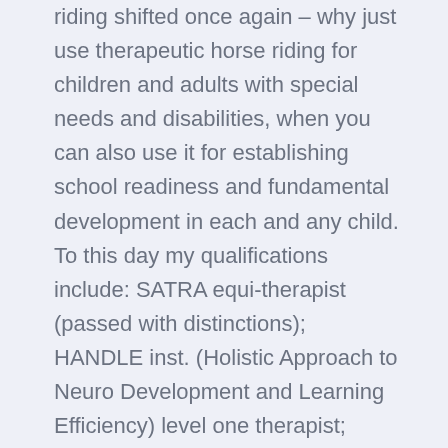riding shifted once again – why just use therapeutic horse riding for children and adults with special needs and disabilities, when you can also use it for establishing school readiness and fundamental development in each and any child. To this day my qualifications include: SATRA equi-therapist (passed with distinctions); HANDLE inst. (Holistic Approach to Neuro Development and Learning Efficiency) level one therapist; UNISA (University of South Africa) practitioners in early childhood development diploma (passed with distinctions) and EQASA (Equestrian Qualification Association of South Africa) level one and two.
The difference between therapeutic horse riding and hippotherapy: